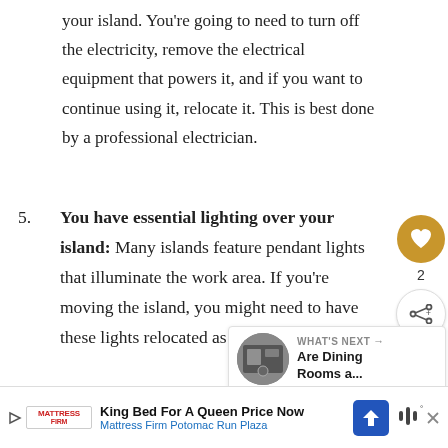your island. You're going to need to turn off the electricity, remove the electrical equipment that powers it, and if you want to continue using it, relocate it. This is best done by a professional electrician.
5. You have essential lighting over your island: Many islands feature pendant lights that illuminate the work area. If you're moving the island, you might need to have these lights relocated as well.
[Figure (other): Social interaction buttons: heart/like button (gold circle) with count '2', and a share button below it]
[Figure (other): What's Next panel: thumbnail image of a dining scene, label 'WHAT'S NEXT →', title 'Are Dining Rooms a...']
[Figure (other): Advertisement banner: Mattress Firm logo, text 'King Bed For A Queen Price Now', subtitle 'Mattress Firm Potomac Run Plaza', navigation icon, audio wave icon, close button]